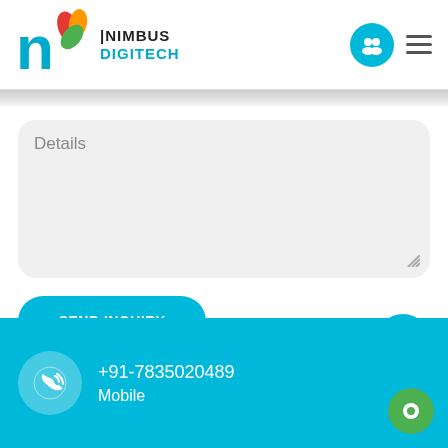[Figure (logo): Nimbus Digitech logo with colorful leaf design and stylized 'n']
Details
SEND INQUIRY
+91-7835020489
Mobile